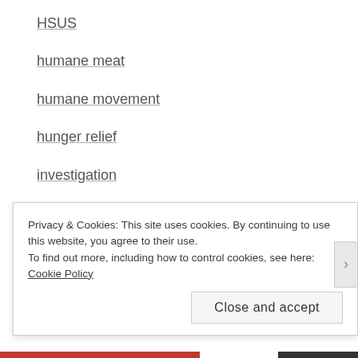HSUS
humane meat
humane movement
hunger relief
investigation
legislation
Letters
literature
magazines
Meta
Privacy & Cookies: This site uses cookies. By continuing to use this website, you agree to their use.
To find out more, including how to control cookies, see here: Cookie Policy
Close and accept